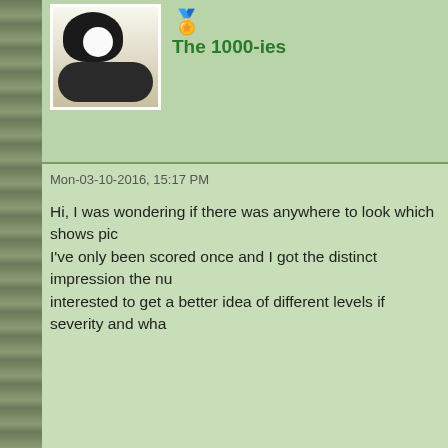[Figure (photo): Black and white cat lying on floor - avatar photo (partial/top)]
The 1000-ies
Mon-03-10-2016, 15:17 PM
Hi, I was wondering if there was anywhere to look which shows pic I've only been scored once and I got the distinct impression the nu interested to get a better idea of different levels if severity and wha
[Figure (photo): Wolf howling - avatar photo for user Fred]
Fred Off-Line
I Wanted To Change the World But Got Up Far Too Late.
The 1000-ies
Mon-03-10-2016, 15:30 PM
Have you looked at the second website bottom right I mentioned h